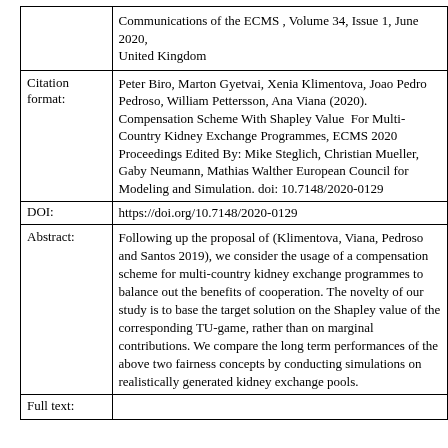|  |  |
| --- | --- |
|  | Communications of the ECMS , Volume 34, Issue 1, June 2020, United Kingdom |
| Citation format: | Peter Biro, Marton Gyetvai, Xenia Klimentova, Joao Pedro Pedroso, William Pettersson, Ana Viana (2020). Compensation Scheme With Shapley Value  For Multi-Country Kidney Exchange Programmes, ECMS 2020 Proceedings Edited By: Mike Steglich, Christian Mueller, Gaby Neumann, Mathias Walther European Council for Modeling and Simulation. doi: 10.7148/2020-0129 |
| DOI: | https://doi.org/10.7148/2020-0129 |
| Abstract: | Following up the proposal of (Klimentova, Viana, Pedroso and Santos 2019), we consider the usage of a compensation scheme for multi-country kidney exchange programmes to balance out the benefits of cooperation. The novelty of our study is to base the target solution on the Shapley value of the corresponding TU-game, rather than on marginal contributions. We compare the long term performances of the above two fairness concepts by conducting simulations on realistically generated kidney exchange pools. |
| Full text: |  |